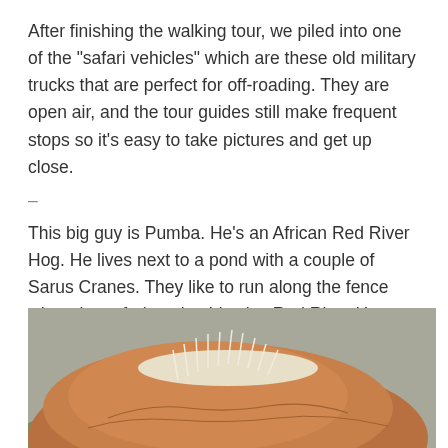After finishing the walking tour, we piled into one of the "safari vehicles" which are these old military trucks that are perfect for off-roading. They are open air, and the tour guides still make frequent stops so it's easy to take pictures and get up close.
–
This big guy is Pumba. He's an African Red River Hog. He lives next to a pond with a couple of Sarus Cranes. They like to run along the fence when the safari trucks drive by. Red River Hogs are found in the rainforests of Africa and can weigh up to 250 pounds!
[Figure (photo): Close-up photo of an African Red River Hog (Pumba), showing its reddish-brown fur and white mane/bristles on its back, with a blurred green and grey natural background.]